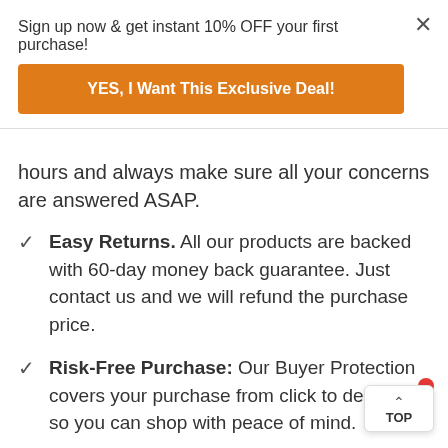Sign up now & get instant 10% OFF your first purchase!
YES, I Want This Exclusive Deal!
hours and always make sure all your concerns are answered ASAP.
Easy Returns. All our products are backed with 60-day money back guarantee. Just contact us and we will refund the purchase price.
Risk-Free Purchase: Our Buyer Protection covers your purchase from click to delivery so you can shop with peace of mind.
100% Satisfaction Guarantee: All our products backed with 60-day money back guarantee. If reason you're not completely satisfied with your purchase, contact us for a product refund. We'll be